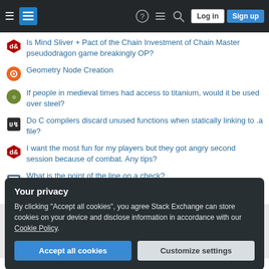Stack Exchange navigation header with Log in and Sign up buttons
Is Mind Sliver + Pact of the Chain Investment of Chain Master pseudodragon game breakingly OP?
Geometry Node Creation
If people in medieval times had access to titanium, would it be used over steel?
Do C compilers discard unused functions when statically linking to .a file?
I want the most fun for my players but they got angry second session because of combat. Any tips?
What is the point of the line on a check?
Question feed
Your privacy
By clicking "Accept all cookies", you agree Stack Exchange can store cookies on your device and disclose information in accordance with our Cookie Policy.
Accept all cookies | Customize settings
Legal · Privacy Policy · Terms of Service · Cookie Settings · Cookie Policy